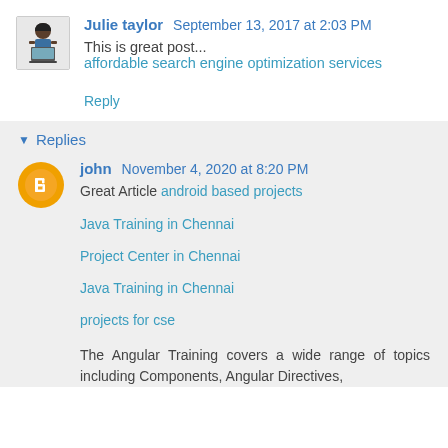Julie taylor  September 13, 2017 at 2:03 PM
This is great post...
affordable search engine optimization services
Reply
Replies
john  November 4, 2020 at 8:20 PM
Great Article android based projects
Java Training in Chennai
Project Center in Chennai
Java Training in Chennai
projects for cse
The Angular Training covers a wide range of topics including Components, Angular Directives,